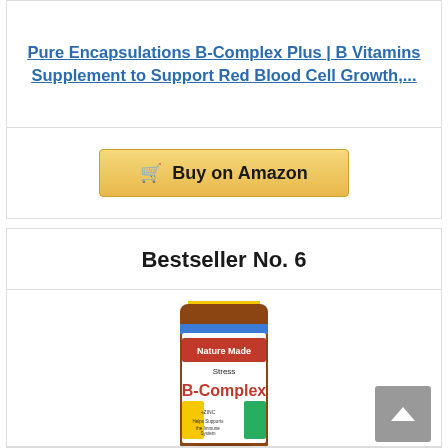Pure Encapsulations B-Complex Plus | B Vitamins Supplement to Support Red Blood Cell Growth,...
Buy on Amazon
Bestseller No. 6
[Figure (photo): Nature Made Stress B-Complex supplement bottle with yellow cap, brown bottle, showing product label with 'Nature Made', 'Stress B-Complex' text]
Nature Made Stress B-Complex with Vitamin